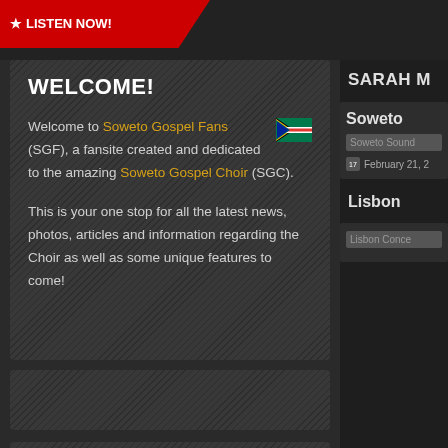LISTEN NOW!
WELCOME!
Welcome to Soweto Gospel Fans (SGF), a fansite created and dedicated to the amazing Soweto Gospel Choir (SGC).
This is your one stop for all the latest news, photos, articles and information regarding the Choir as well as some unique features to come!
SARAH M
Soweto
[Figure (photo): Soweto Sound image placeholder]
February 21, 2
Lisbon
[Figure (photo): Lisbon Concert image placeholder]